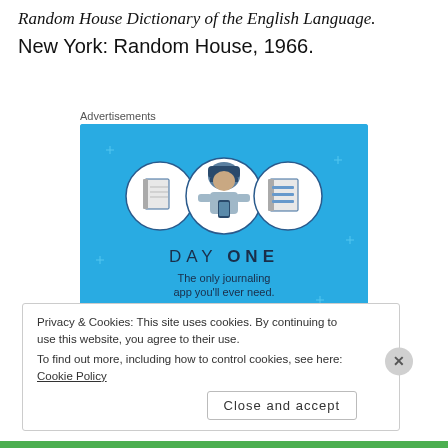Random House Dictionary of the English Language. New York: Random House, 1966.
Advertisements
[Figure (illustration): Day One journaling app advertisement. Blue background with sparkle stars, three circular icons showing notebooks and a person holding a phone. Text: DAY ONE, The only journaling app you'll ever need. Blue 'Get the app' button.]
Privacy & Cookies: This site uses cookies. By continuing to use this website, you agree to their use.
To find out more, including how to control cookies, see here: Cookie Policy
Close and accept